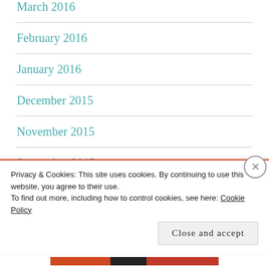March 2016
February 2016
January 2016
December 2015
November 2015
September 2015
May 2015
March 2015
Privacy & Cookies: This site uses cookies. By continuing to use this website, you agree to their use. To find out more, including how to control cookies, see here: Cookie Policy
Close and accept